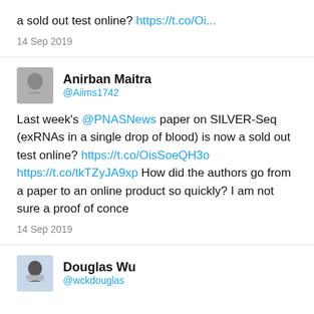a sold out test online? https://t.co/Oi...
14 Sep 2019
Anirban Maitra @Aiims1742
Last week's @PNASNews paper on SILVER-Seq (exRNAs in a single drop of blood) is now a sold out test online? https://t.co/OisSoeQH3o https://t.co/tkTZyJA9xp How did the authors go from a paper to an online product so quickly? I am not sure a proof of conce
14 Sep 2019
Douglas Wu @wckdouglas